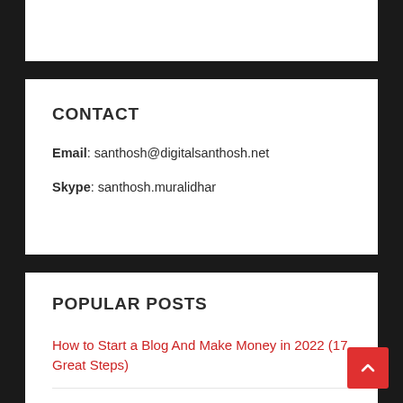CONTACT
Email: santhosh@digitalsanthosh.net
Skype: santhosh.muralidhar
POPULAR POSTS
How to Start a Blog And Make Money in 2022 (17 Great Steps)